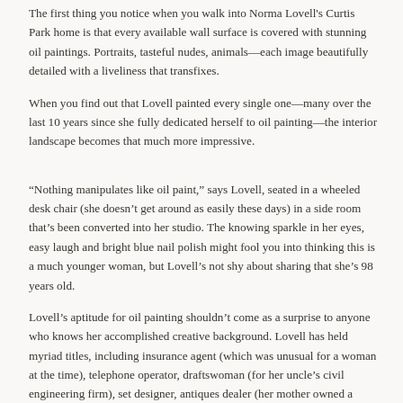The first thing you notice when you walk into Norma Lovell's Curtis Park home is that every available wall surface is covered with stunning oil paintings. Portraits, tasteful nudes, animals—each image beautifully detailed with a liveliness that transfixes.
When you find out that Lovell painted every single one—many over the last 10 years since she fully dedicated herself to oil painting—the interior landscape becomes that much more impressive.
“Nothing manipulates like oil paint,” says Lovell, seated in a wheeled desk chair (she doesn’t get around as easily these days) in a side room that’s been converted into her studio. The knowing sparkle in her eyes, easy laugh and bright blue nail polish might fool you into thinking this is a much younger woman, but Lovell’s not shy about sharing that she’s 98 years old.
Lovell’s aptitude for oil painting shouldn’t come as a surprise to anyone who knows her accomplished creative background. Lovell has held myriad titles, including insurance agent (which was unusual for a woman at the time), telephone operator, draftswoman (for her uncle’s civil engineering firm), set designer, antiques dealer (her mother owned a popular shop in Midtown), interior designer, as well as artist of all genres—excelling at everything from china painting to stained-glass making, violin to electric organ playing.